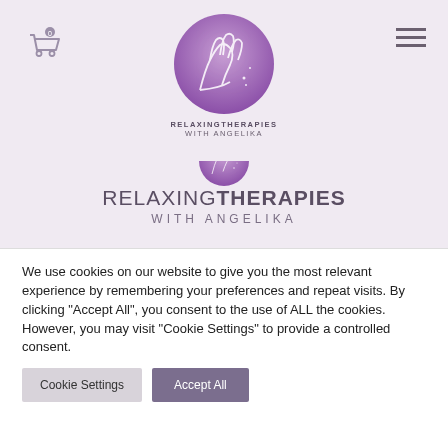[Figure (logo): Relaxing Therapies with Angelika logo — circular purple gradient with line-art hands, shown twice (small in header, large below), with brand name text]
We use cookies on our website to give you the most relevant experience by remembering your preferences and repeat visits. By clicking “Accept All”, you consent to the use of ALL the cookies. However, you may visit "Cookie Settings" to provide a controlled consent.
Cookie Settings | Accept All